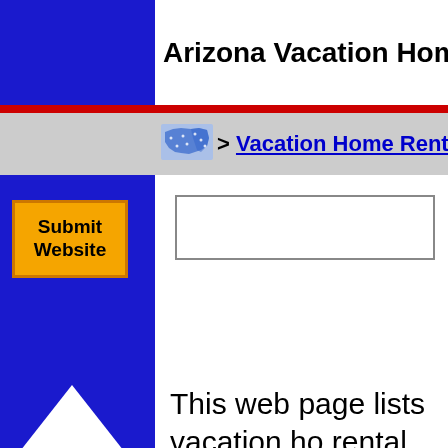Arizona Vacation Home Renta
[Figure (screenshot): US map icon in breadcrumb navigation]
> Vacation Home Rental >
Submit Website
This web page lists vacation ho rental services in the State of Arizona. Before visiting any of these Arizona vacation home rental services, be sure to verify their address, hours of operatio